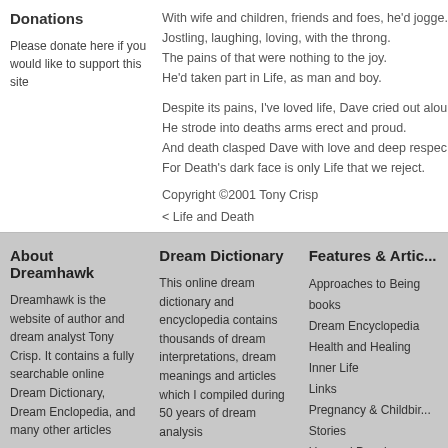Donations
Please donate here if you would like to support this site
With wife and children, friends and foes, he'd jogge...
Jostling, laughing, loving, with the throng.
The pains of that were nothing to the joy.
He'd taken part in Life, as man and boy.

Despite its pains, I've loved life, Dave cried out alou...
He strode into deaths arms erect and proud.
And death clasped Dave with love and deep respec...
For Death's dark face is only Life that we reject.
Copyright ©2001 Tony Crisp
< Life and Death
About Dreamhawk
Dreamhawk is the website of author and dream analyst Tony Crisp. It contains a fully searchable online Dream Dictionary, Dream Enclopedia, and many other articles
Dream Dictionary
This online dream dictionary and encyclopedia contains thousands of dream interpretations, dream meanings and articles which I compiled during 50 years of dream analysis
Features & Articles
Approaches to Being books
Dream Encyclopedia
Health and Healing
Inner Life
Links
Pregnancy & Childbirth
Stories
Unusual People
Yoga
Copyright © 1999-2...